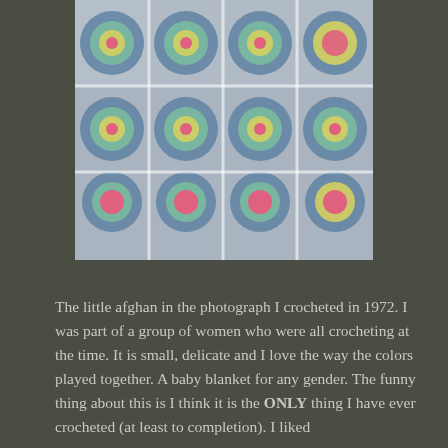[Figure (photo): Close-up photograph of a crocheted granny square afghan blanket with colorful squares arranged in a grid. Each square has a pink center flower surrounded by rings of yellow, green/teal, and blue yarn, with white borders joining the squares together.]
The little afghan in the photograph I crocheted in 1972.  I was part of a group of women who were all crocheting at the time.  It is small, delicate and I love the way the colors played together.  A baby blanket for any gender.  The funny thing about this is I think it is the ONLY thing I have ever crocheted (at least to completion).  I liked